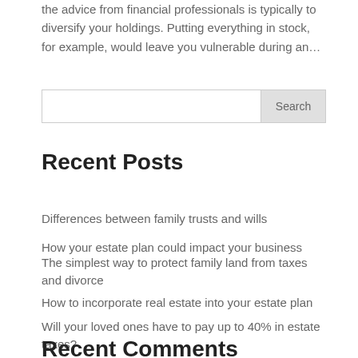the advice from financial professionals is typically to diversify your holdings. Putting everything in stock, for example, would leave you vulnerable during an…
Search
Recent Posts
Differences between family trusts and wills
How your estate plan could impact your business
The simplest way to protect family land from taxes and divorce
How to incorporate real estate into your estate plan
Will your loved ones have to pay up to 40% in estate taxes?
Recent Comments